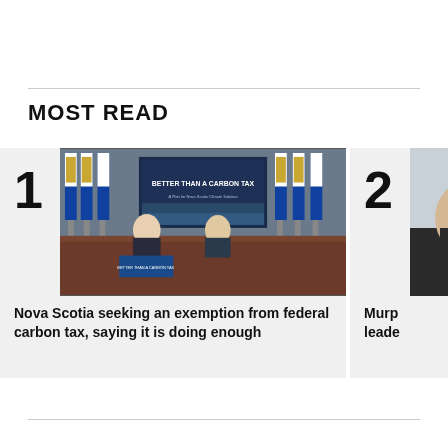MOST READ
[Figure (photo): Two men in suits standing at a podium with Nova Scotia flags and a screen reading 'BETTER THAN A CARBON TAX']
Nova Scotia seeking an exemption from federal carbon tax, saying it is doing enough
[Figure (photo): Partial image of a person in a dark suit, cropped on the right edge]
Murp leade